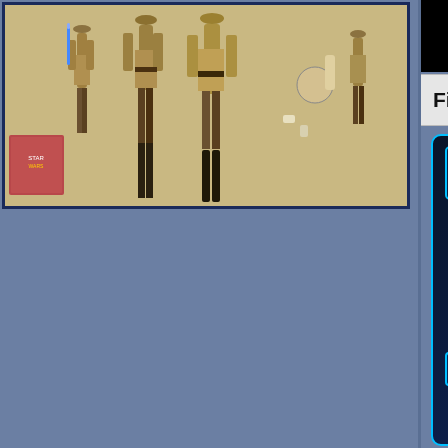[Figure (photo): Action figures of Star Wars Jedi characters in tan/brown robes with lightsabers, displayed against a beige background with product box inset visible]
[Figure (screenshot): Star Wars: The Force Awakens logo/banner on black background (partially visible on right)]
First Order TIE Fighter Pilot -
[Figure (screenshot): Star Wars info card with holographic/neon blue UI showing: Name: First Order [TIE Fighter Pilot], Collection: The Fo[rce Awakens], Number: N/A, Source: The Force [Awakens], Availability: Septe[mber 2015], License: Hasbro. Features Jedi Order emblem, Aurebesh text, space background.]